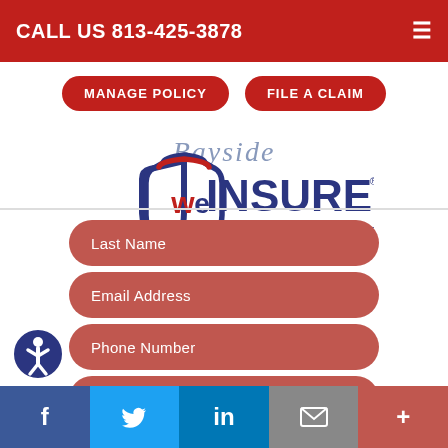CALL US 813-425-3878
MANAGE POLICY
FILE A CLAIM
[Figure (logo): Bayside We Insure logo — shield shape with 'we' in red/blue and 'INSURE' in navy. Tagline: HOME | AUTO | BUSINESS]
Last Name
Email Address
Phone Number
Comments
Facebook | Twitter | LinkedIn | Email | More